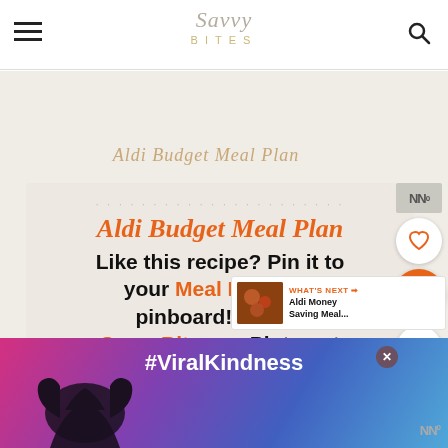Savvy Bites
Aldi Budget Meal Plan
Like this recipe? Pin it to your Meal Planning pinboard! Follow SavvyBites on Pinterest
[Figure (screenshot): What's Next panel showing Aldi Money Saving Meal... with food thumbnail]
[Figure (photo): Advertisement banner with #ViralKindness text, heart hands silhouette, purple/blue/pink gradient background]